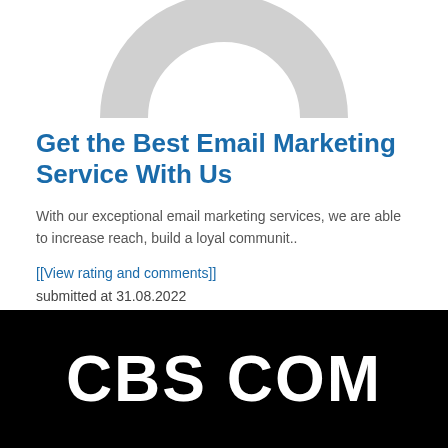[Figure (logo): Partial arc/rainbow logo in light gray at top center of page, cropped]
Get the Best Email Marketing Service With Us
With our exceptional email marketing services, we are able to increase reach, build a loyal communit..
[[View rating and comments]]
submitted at 31.08.2022
[Figure (logo): Black banner with white bold text reading 'CBS COM']